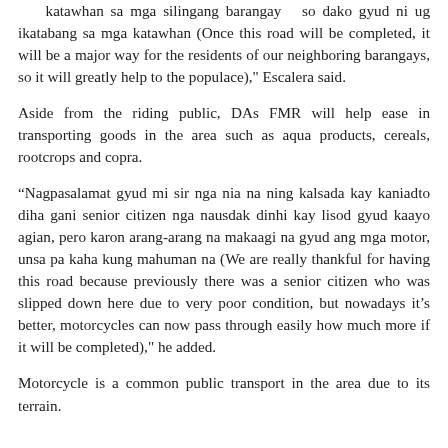katawhan sa mga silingang barangay  so dako gyud ni ug ikatabang sa mga katawhan (Once this road will be completed, it will be a major way for the residents of our neighboring barangays, so it will greatly help to the populace)," Escalera said.
Aside from the riding public, DAs FMR will help ease in transporting goods in the area such as aqua products, cereals, rootcrops and copra.
“Nagpasalamat gyud mi sir nga nia na ning kalsada kay kaniadto diha gani senior citizen nga nausdak dinhi kay lisod gyud kaayo agian, pero karon arang-arang na makaagi na gyud ang mga motor, unsa pa kaha kung mahuman na (We are really thankful for having this road because previously there was a senior citizen who was slipped down here due to very poor condition, but nowadays it’s better, motorcycles can now pass through easily how much more if it will be completed)," he added.
Motorcycle is a common public transport in the area due to its terrain.